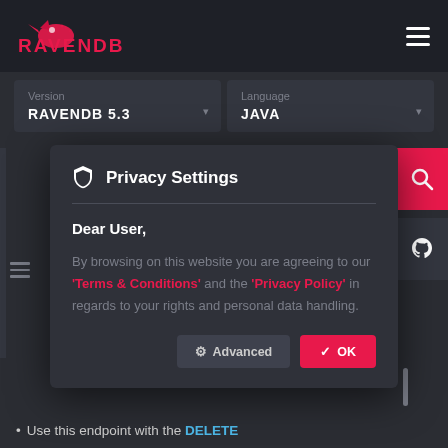RAVENDB
Version: RAVENDB 5.3 | Language: JAVA
Privacy Settings
Dear User,
By browsing on this website you are agreeing to our 'Terms & Conditions' and the 'Privacy Policy' in regards to your rights and personal data handling.
Advanced | OK
Use this endpoint with the DELETE